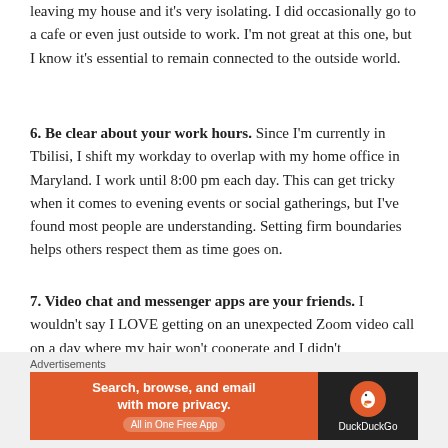leaving my house and it's very isolating. I did occasionally go to a cafe or even just outside to work. I'm not great at this one, but I know it's essential to remain connected to the outside world.
6. Be clear about your work hours. Since I'm currently in Tbilisi, I shift my workday to overlap with my home office in Maryland. I work until 8:00 pm each day. This can get tricky when it comes to evening events or social gatherings, but I've found most people are understanding. Setting firm boundaries helps others respect them as time goes on.
7. Video chat and messenger apps are your friends. I wouldn't say I LOVE getting on an unexpected Zoom video call on a day where my hair won't cooperate and I didn't
Advertisements
[Figure (other): DuckDuckGo advertisement banner: 'Search, browse, and email with more privacy. All in One Free App' with DuckDuckGo logo on dark background.]